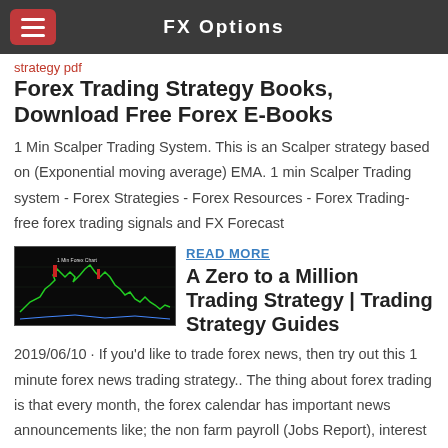FX Options
strategy pdf
Forex Trading Strategy Books, Download Free Forex E-Books
1 Min Scalper Trading System. This is an Scalper strategy based on (Exponential moving average) EMA. 1 min Scalper Trading system - Forex Strategies - Forex Resources - Forex Trading-free forex trading signals and FX Forecast
[Figure (screenshot): Forex chart screenshot showing candlestick price action with green and red candles on dark background]
READ MORE
A Zero to a Million Trading Strategy | Trading Strategy Guides
2019/06/10 · If you'd like to trade forex news, then try out this 1 minute forex news trading strategy.. The thing about forex trading is that every month, the forex calendar has important news announcements like; the non farm payroll (Jobs Report), interest …